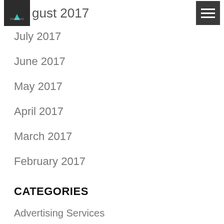August 2017
July 2017
June 2017
May 2017
April 2017
March 2017
February 2017
CATEGORIES
Advertising Services